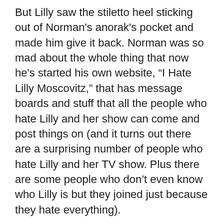But Lilly saw the stiletto heel sticking out of Norman's anorak's pocket and made him give it back. Norman was so mad about the whole thing that now he's started his own website, “I Hate Lilly Moscovitz,” that has message boards and stuff that all the people who hate Lilly and her show can come and post things on (and it turns out there are a surprising number of people who hate Lilly and her TV show. Plus there are some people who don’t even know who Lilly is but they joined just because they hate everything).
I have to say, after all that, I’m kind of surprised the Drs. Moscovitz would leave her without parental supervision, even with Michael there.
FtLouie:
Fun! I'll totally come over! What are we going to do? Watch a movie marathon?